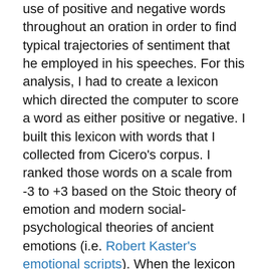use of positive and negative words throughout an oration in order to find typical trajectories of sentiment that he employed in his speeches. For this analysis, I had to create a lexicon which directed the computer to score a word as either positive or negative. I built this lexicon with words that I collected from Cicero's corpus. I ranked those words on a scale from -3 to +3 based on the Stoic theory of emotion and modern social-psychological theories of ancient emotions (i.e. Robert Kaster's emotional scripts). When the lexicon was complete, I carried out the sentiment analysis of the speeches, following Matthew Jockers' work with novels as a model. At the end of the analysis, I found nine typical trajectories of sentiment for his fifty-two speeches.
The part of my dissertation that has been published as a module of Big Ancient Mediterranean is my network analysis of Cicero's letters. This analysis is based on data collected from Epistolae and Familiares...